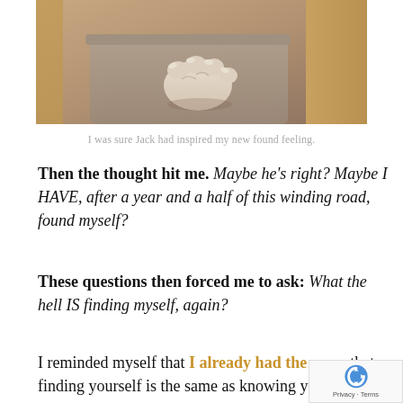[Figure (photo): Close-up photo of a dog's paw resting on the arm of a couch or furniture, warm brown tones]
I was sure Jack had inspired my new found feeling.
Then the thought hit me. Maybe he's right? Maybe I HAVE, after a year and a half of this winding road, found myself?
These questions then forced me to ask: What the hell IS finding myself, again?
I reminded myself that I already had the answ… that finding yourself is the same as knowing yo…